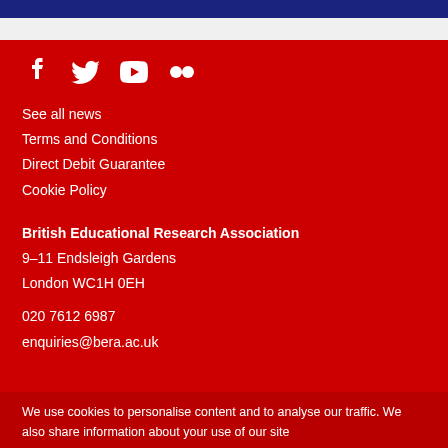[Figure (other): Social media icons: Facebook, Twitter, YouTube, Flickr]
See all news
Terms and Conditions
Direct Debit Guarantee
Cookie Policy
British Educational Research Association
9–11 Endsleigh Gardens
London WC1H 0EH
020 7612 6987
enquiries@bera.ac.uk
We use cookies to personalise content and to analyse our traffic. We also share information about your use of our site